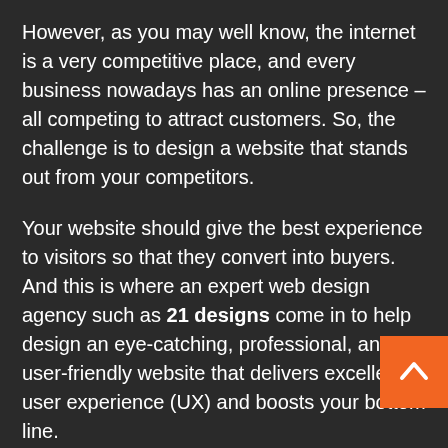However, as you may well know, the internet is a very competitive place, and every business nowadays has an online presence – all competing to attract customers. So, the challenge is to design a website that stands out from your competitors.
Your website should give the best experience to visitors so that they convert into buyers. And this is where an expert web design agency such as 21 designs come in to help design an eye-catching, professional, and user-friendly website that delivers excellent user experience (UX) and boosts your bottom line.
But not all web design agencies are created equal. There are crucial tips and factors you need to look and consider carefully to find the right agency that can help you build professional modern websites that